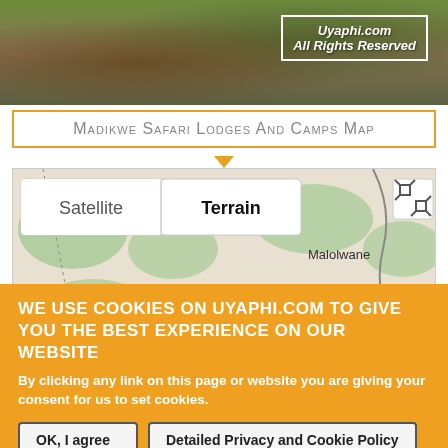[Figure (photo): Photo strip of safari/nature scene with trees and wooden deck. Watermark overlay showing 'Uyaphi.com All Rights Reserved' in curly brace style.]
Madikwe Safari Lodges And Camps Map
[Figure (map): Google Maps terrain view showing Madikwe area with locations labeled: Malolwane, Dikwididi, Mmathubudukwane, Modipane, Sikwane. Map has Satellite/Terrain toggle buttons and fullscreen button.]
WE USE COOKIES ON UYAPHI.COM TO GIVE YOU THE BEST EXPERIENCE ON OUR WEBSITE
By clicking any link on this page or website you are giving your consent for us to set cookies.
OK, I agree | Detailed Privacy and Cookie Policy